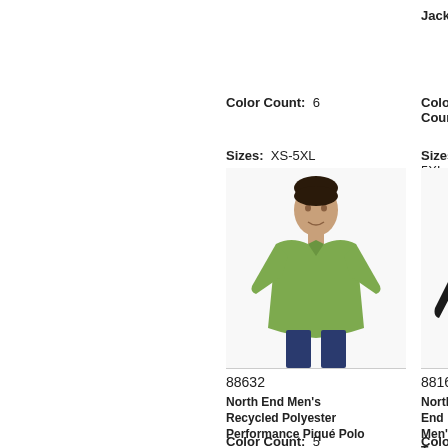Jacket
Color Count: 6
Sizes: XS-5XL
View Now
Color Count: 5
Sizes: S-5XL
View Now
New
[Figure (photo): Man wearing green polo shirt]
88632
North End Men's Recycled Polyester Performance Piqué Polo
Color Count: 5
[Figure (photo): Man wearing black hooded soft shell jacket]
88166
North End Men's Two-Layer Fleece Soft Shell Hoode-
Color Count: 3